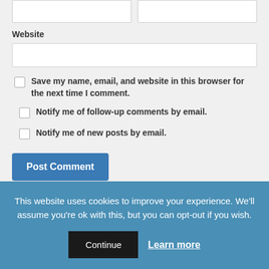Website
Save my name, email, and website in this browser for the next time I comment.
Notify me of follow-up comments by email.
Notify me of new posts by email.
Post Comment
This site uses Akismet to reduce spam. Learn how your
This website uses cookies to improve your experience. We'll assume you're ok with this, but you can opt-out if you wish.
Continue  Learn more